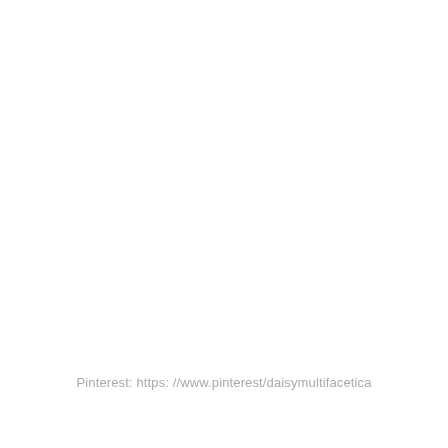Pinterest: https: //www.pinterest/daisymultifacetica